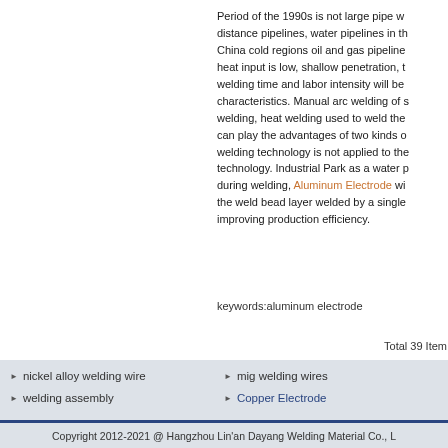Period of the 1990s is not large pipe w... distance pipelines, water pipelines in th... China cold regions oil and gas pipeline... heat input is low, shallow penetration, t... welding time and labor intensity will be... characteristics. Manual arc welding of s... welding, heat welding used to weld the... can play the advantages of two kinds o... welding technology is not applied to the... technology. Industrial Park as a water p... during welding, Aluminum Electrode wi... the weld bead layer welded by a single... improving production efficiency.
keywords:aluminum electrode
Total 39 Item
nickel alloy welding wire
welding assembly
mig welding wires
Copper Electrode
Copyright 2012-2021 @ Hangzhou Lin'an Dayang Welding Material Co., L...